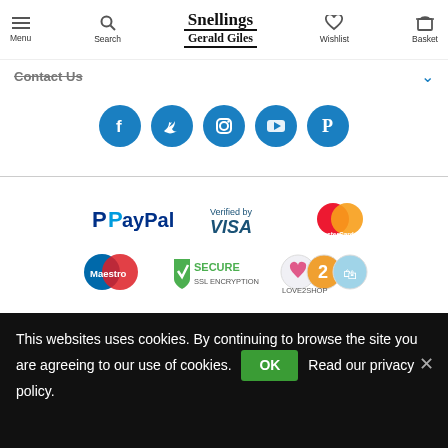Menu | Search | Snellings Gerald Giles | Wishlist | Basket
Contact Us
[Figure (illustration): Row of five social media icon buttons: Facebook, Twitter, Instagram, YouTube, Pinterest — all in blue circles]
[Figure (logo): Payment method logos: PayPal, Verified by VISA, MasterCard, Maestro, Secure SSL Encryption, Love2Shop]
This websites uses cookies. By continuing to browse the site you are agreeing to our use of cookies. OK Read our privacy policy.